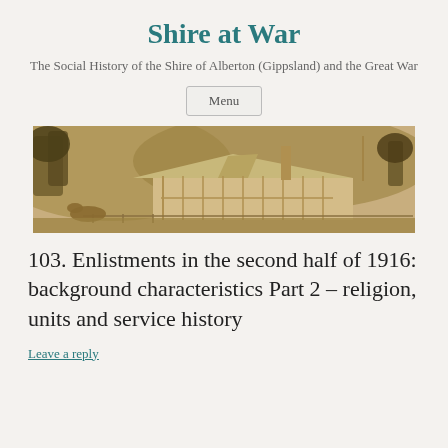Shire at War
The Social History of the Shire of Alberton (Gippsland) and the Great War
Menu
[Figure (photo): Sepia-toned historical photograph of a rural homestead with a verandah, horses, and hills in the background]
103. Enlistments in the second half of 1916: background characteristics Part 2 – religion, units and service history
Leave a reply